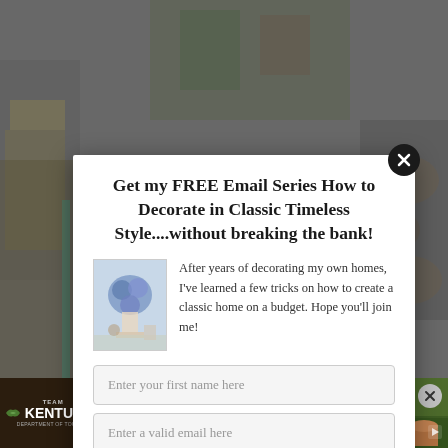[Figure (screenshot): Website popup modal with email signup form over a blurred workshop/store background. Modal contains title, decorating image, body text, two input fields, and a subscribe button. Below is a Kentucky tourism advertisement banner.]
Get my FREE Email Series How to Decorate in Classic Timeless Style....without breaking the bank!
After years of decorating my own homes, I've learned a few tricks on how to create a classic home on a budget. Hope you'll join me!
Enter your first name here
Enter a valid email here
CAPTURE YOUR KENTUCKY MOMENT
EXPAND